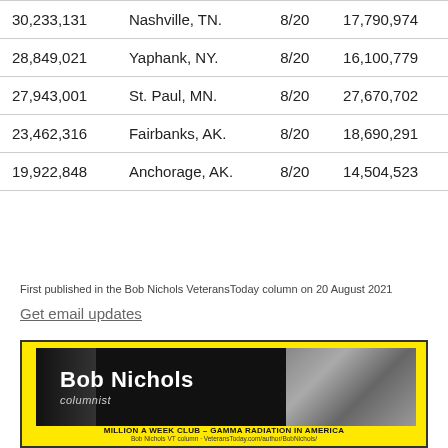| 30,233,131 | Nashville, TN. | 8/20 | 17,790,974 |
| 28,849,021 | Yaphank, NY. | 8/20 | 16,100,779 |
| 27,943,001 | St. Paul, MN. | 8/20 | 27,670,702 |
| 23,462,316 | Fairbanks, AK. | 8/20 | 18,690,291 |
| 19,922,848 | Anchorage, AK. | 8/20 | 14,504,523 |
First published in the Bob Nichols VeteransToday column on 20 August 2021
Get email updates
[Figure (illustration): Bob Nichols columnist banner. Yellow background with a black-and-white photo of Bob Nichols (a man with glasses) and bold white text reading 'Bob Nichols' and subtitle 'columnist'. Below: 'MILLION A WEEK CLUB - GAMMA RADIATION IN AMERICA' and a URL for the VeteransToday column.]